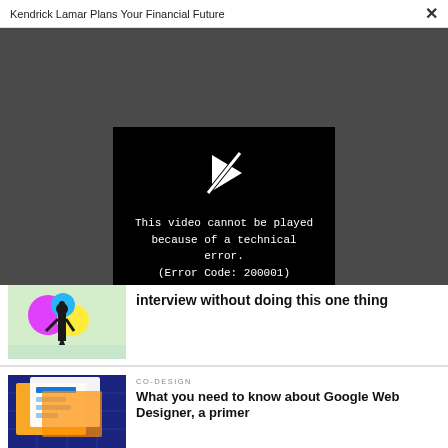Kendrick Lamar Plans Your Financial Future
[Figure (screenshot): Black video player box showing error message: 'This video cannot be played because of a technical error. (Error Code: 200001)' with a broken play button icon, on a dark grey background]
interview without doing this one thing
CO-DESIGN
What you need to know about Google Web Designer, a primer